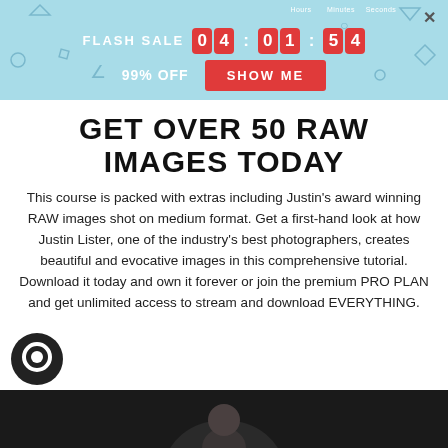[Figure (screenshot): Flash sale banner with countdown timer showing 04:01:54, 99% OFF text, and SHOW ME button on light blue background]
GET OVER 50 RAW IMAGES TODAY
This course is packed with extras including Justin's award winning RAW images shot on medium format. Get a first-hand look at how Justin Lister, one of the industry's best photographers, creates beautiful and evocative images in this comprehensive tutorial. Download it today and own it forever or join the premium PRO PLAN and get unlimited access to stream and download EVERYTHING.
[Figure (photo): Dark photo strip at bottom showing partial view of a person]